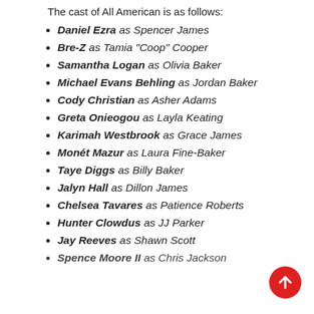The cast of All American is as follows:
Daniel Ezra as Spencer James
Bre-Z as Tamia "Coop" Cooper
Samantha Logan as Olivia Baker
Michael Evans Behling as Jordan Baker
Cody Christian as Asher Adams
Greta Onieogou as Layla Keating
Karimah Westbrook as Grace James
Monét Mazur as Laura Fine-Baker
Taye Diggs as Billy Baker
Jalyn Hall as Dillon James
Chelsea Tavares as Patience Roberts
Hunter Clowdus as JJ Parker
Jay Reeves as Shawn Scott
Spence Moore II as Chris Jackson